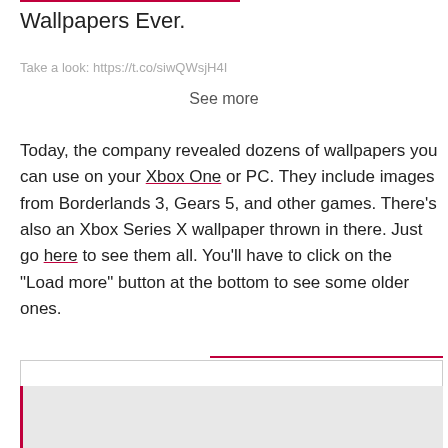Wallpapers Ever.
Take a look: https://t.co/siwQWsjH4I
See more
Today, the company revealed dozens of wallpapers you can use on your Xbox One or PC. They include images from Borderlands 3, Gears 5, and other games. There's also an Xbox Series X wallpaper thrown in there. Just go here to see them all. You'll have to click on the "Load more" button at the bottom to see some older ones.
BEST OF THE BEST